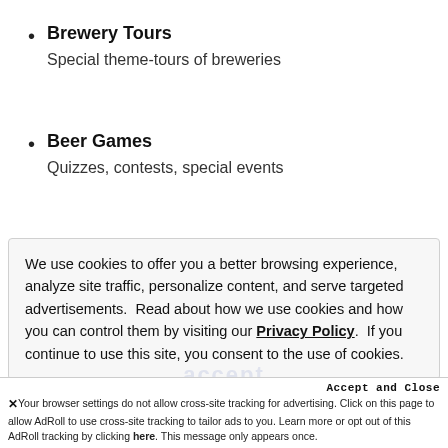Brewery Tours
Special theme-tours of breweries
Beer Games
Quizzes, contests, special events
We use cookies to offer you a better browsing experience, analyze site traffic, personalize content, and serve targeted advertisements.  Read about how we use cookies and how you can control them by visiting our Privacy Policy.  If you continue to use this site, you consent to the use of cookies.
Accept and Close
✕ Your browser settings do not allow cross-site tracking for advertising. Click on this page to allow AdRoll to use cross-site tracking to tailor ads to you. Learn more or opt out of this AdRoll tracking by clicking here. This message only appears once.